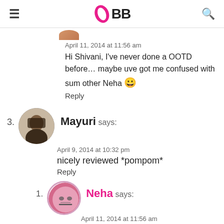IMBB logo with hamburger menu and search icon
April 11, 2014 at 11:56 am
Hi Shivani, I've never done a OOTD before… maybe uve got me confused with sum other Neha 😀
Reply
3. Mayuri says:
April 9, 2014 at 10:32 pm
nicely reviewed *pompom*
Reply
1. Neha says:
April 11, 2014 at 11:56 am
Thanku 🙂
Reply